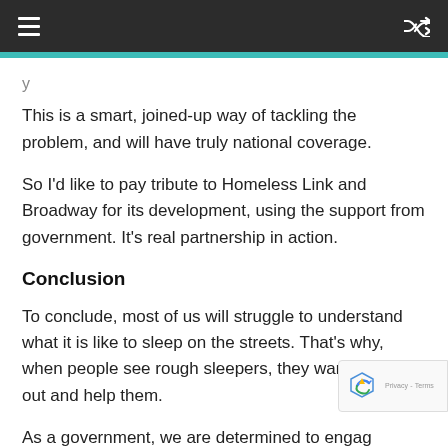This is a smart, joined-up way of tackling the problem, and will have truly national coverage.
So I'd like to pay tribute to Homeless Link and Broadway for its development, using the support from government. It's real partnership in action.
Conclusion
To conclude, most of us will struggle to understand what it is like to sleep on the streets. That's why, when people see rough sleepers, they want to reach out and help them.
As a government, we are determined to engage with this issue, and ensure the right interventions made, as early as possible. We need to break the